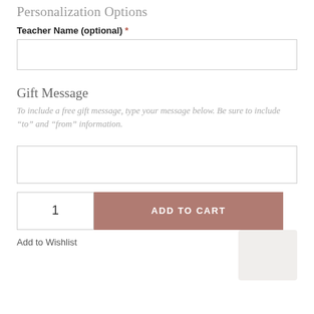Personalization Options
Teacher Name (optional) *
[Figure (other): Text input box for Teacher Name field]
Gift Message
To include a free gift message, type your message below. Be sure to include “to” and “from” information.
[Figure (other): Textarea input box for Gift Message field]
[Figure (other): Quantity input box showing '1' and Add to Cart button]
Add to Wishlist